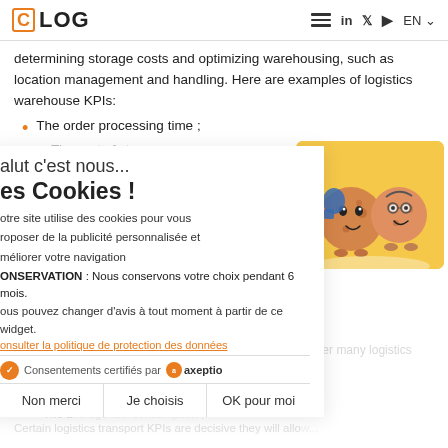C LOG — navigation header with hamburger menu, linkedin, twitter, youtube icons, EN language selector
determining storage costs and optimizing warehousing, such as location management and handling. Here are examples of logistics warehouse KPIs:
The order processing time ;
The cost of storage ;
The handling charges ;
The average transhipment time...
Transport KPIs
Transport is the pillar of the logistics chain, it brings together many logistics performance indicators, such as
The cost of transporting goods on sales ;
The fill rate of the fleet ;
The average fuel consumption ;
Certain logistics transport KPIs are decisive they will allow...
[Figure (illustration): Cookie consent banner overlay with two cartoon cookie characters on orange/yellow background. Banner shows: 'alut c'est nous... es Cookies !' heading, cookie usage text in French, CONSERVATION notice, link to privacy policy, 'Consentements certifiés par axeptio' footer, and three buttons: 'Non merci', 'Je choisis', 'OK pour moi']